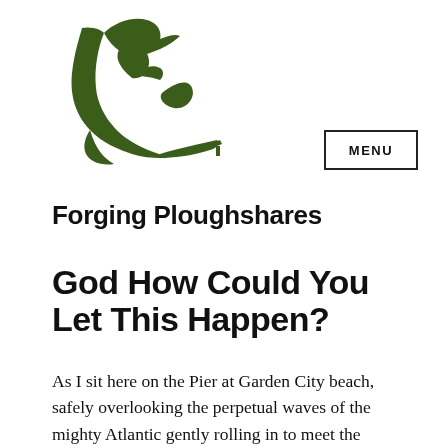[Figure (logo): Forging Ploughshares logo: a green stylized plough with leaves growing from it]
Forging Ploughshares
MENU
God How Could You Let This Happen?
As I sit here on the Pier at Garden City beach, safely overlooking the perpetual waves of the mighty Atlantic gently rolling in to meet the Carolina shore, I pore over the dire situation